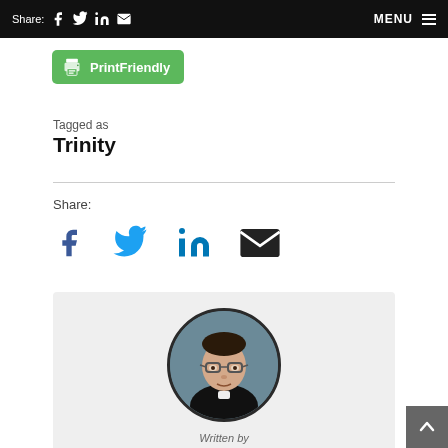Share: [Facebook] [Twitter] [LinkedIn] [Email]   MENU
[Figure (other): PrintFriendly green button with printer icon]
Tagged as
Trinity
Share:
[Figure (other): Social share icons: Facebook, Twitter, LinkedIn, Email]
[Figure (photo): Circular headshot photo of Fr Joseph Esper, a priest wearing black clerical attire with glasses]
Written by
Fr Joseph Esper